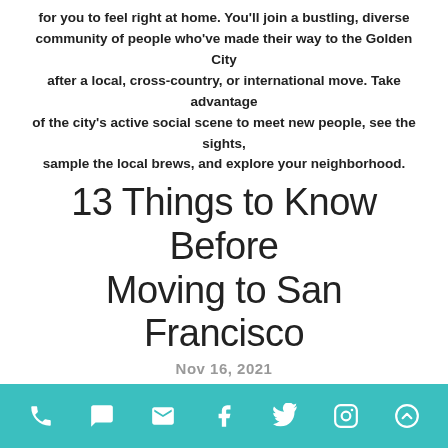for you to feel right at home. You'll join a bustling, diverse community of people who've made their way to the Golden City after a local, cross-country, or international move. Take advantage of the city's active social scene to meet new people, see the sights, sample the local brews, and explore your neighborhood.
13 Things to Know Before Moving to San Francisco
Nov 16, 2021
BY: Aislinn Herrera
Moving to a new place can be nerve-wracking. Sure, you think you know what you're getting yourself into. You've watched Laguna Beach and The Hills growing up (even if you don't mention that to anyone), so you know what California is like, right?
Icon bar with phone, chat, email, facebook, twitter, instagram, scroll-up icons